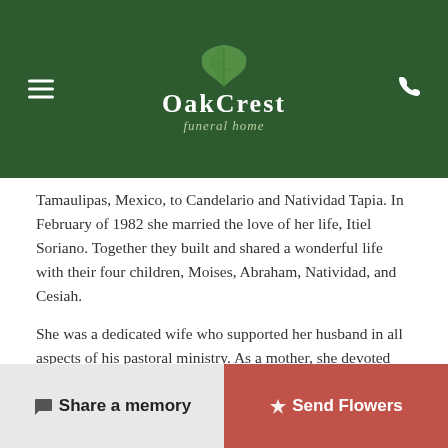OakCrest Funeral Home
Tamaulipas, Mexico, to Candelario and Natividad Tapia. In February of 1982 she married the love of her life, Itiel Soriano. Together they built and shared a wonderful life with their four children, Moises, Abraham, Natividad, and Cesiah.
She was a dedicated wife who supported her husband in all aspects of his pastoral ministry. As a mother, she devoted herself to raising her children and was more than happy to be a central figure in their lives. Anyone who knows them knows that she was a star in their eyes. She was an exceptional grandmother who proudly boasted about her grandchildren and made it a point to always be present in their various functions. She loved the Lord with all her heart and actively volunteered in her church community.
Share a memory   Send Flowers